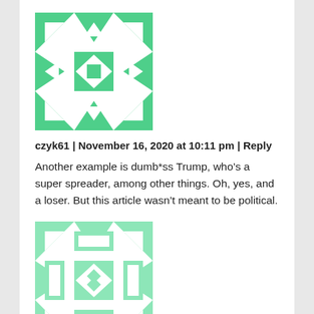[Figure (illustration): Green geometric mosaic avatar for user czyk61]
czyk61 | November 16, 2020 at 10:11 pm | Reply
Another example is dumb*ss Trump, who’s a super spreader, among other things. Oh, yes, and a loser. But this article wasn’t meant to be political.
[Figure (illustration): Green geometric mosaic avatar for user Doziers]
Doziers | November 18, 2020 at 8:18 am | Reply
I reject censorship of science simply on the basis of not liking the results. Anytime liberals don’t like the results of